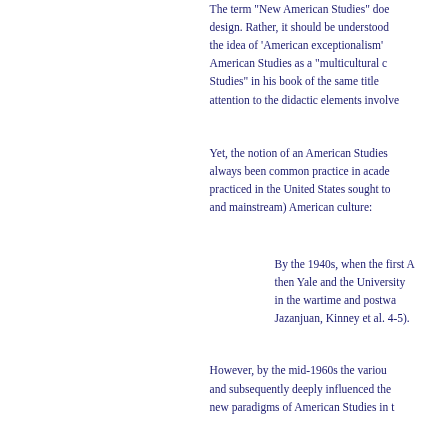The term "New American Studies" does not reflect a unified design. Rather, it should be understood as a reaction against the idea of 'American exceptionalism' ... characterizing American Studies as a "multicultural curriculum" ... Studies" in his book of the same title ... attention to the didactic elements involve...
Yet, the notion of an American Studies ... always been common practice in acade... practiced in the United States sought to... and mainstream) American culture:
By the 1940s, when the first A... then Yale and the University ... in the wartime and postwa... Jazanjuan, Kinney et al. 4-5).
However, by the mid-1960s the variou... and subsequently deeply influenced the... new paradigms of American Studies in t...